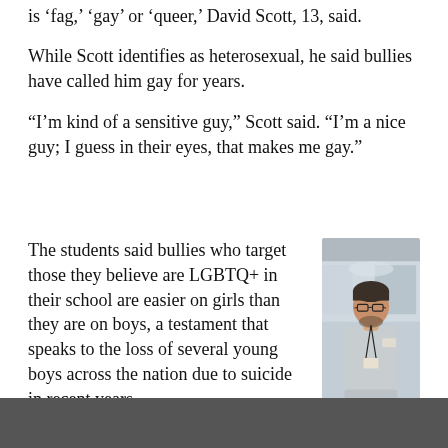is 'fag,' 'gay' or 'queer,' David Scott, 13, said.
While Scott identifies as heterosexual, he said bullies have called him gay for years.
“I’m kind of a sensitive guy,” Scott said. “I’m a nice guy; I guess in their eyes, that makes me gay.”
The students said bullies who target those they believe are LGBTQ+ in their school are easier on girls than they are on boys, a testament that speaks to the loss of several young boys across the nation due to suicide in recent years.
[Figure (photo): A man wearing glasses, a gray long-sleeve shirt with a lanyard and name badge, standing indoors in what appears to be an office or event space.]